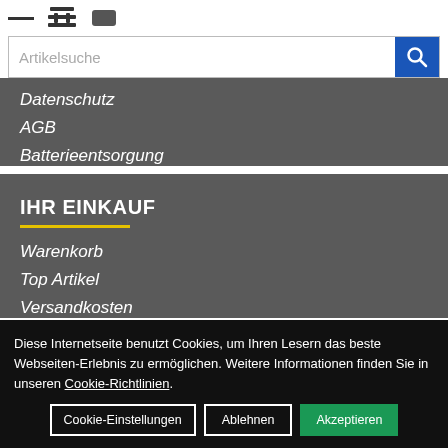— [cart icon] [icon]
Artikelsuche
Datenschutz
AGB
Batterieentsorgung
IHR EINKAUF
Warenkorb
Top Artikel
Versandkosten
Diese Internetseite benutzt Cookies, um Ihren Lesern das beste Webseiten-Erlebnis zu ermöglichen. Weitere Informationen finden Sie in unseren Cookie-Richtlinien.
Cookie-Einstellungen | Ablehnen | Akzeptieren